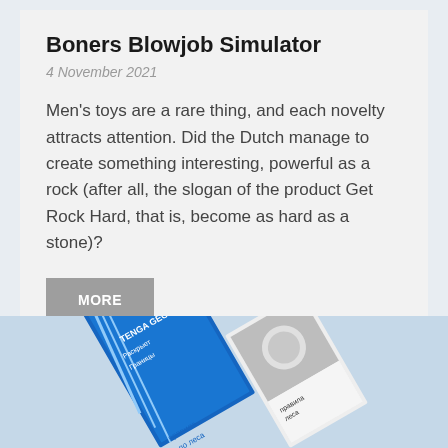Boners Blowjob Simulator
4 November 2021
Men's toys are a rare thing, and each novelty attracts attention. Did the Dutch manage to create something interesting, powerful as a rock (after all, the slogan of the product Get Rock Hard, that is, become as hard as a stone)?
MORE
[Figure (photo): Bottom portion showing magazine or book covers including one labeled TENGA GEO with Cyrillic text, on a light blue background]